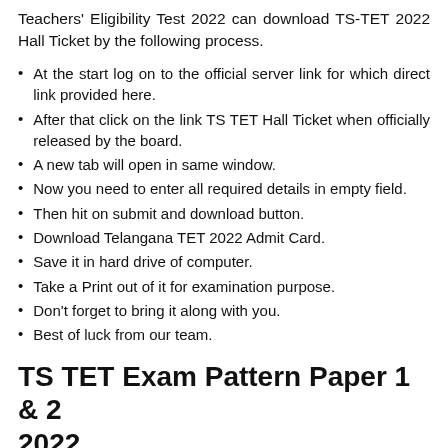Teachers' Eligibility Test 2022 can download TS-TET 2022 Hall Ticket by the following process.
At the start log on to the official server link for which direct link provided here.
After that click on the link TS TET Hall Ticket when officially released by the board.
A new tab will open in same window.
Now you need to enter all required details in empty field.
Then hit on submit and download button.
Download Telangana TET 2022 Admit Card.
Save it in hard drive of computer.
Take a Print out of it for examination purpose.
Don't forget to bring it along with you.
Best of luck from our team.
TS TET Exam Pattern Paper 1 & 2 2022